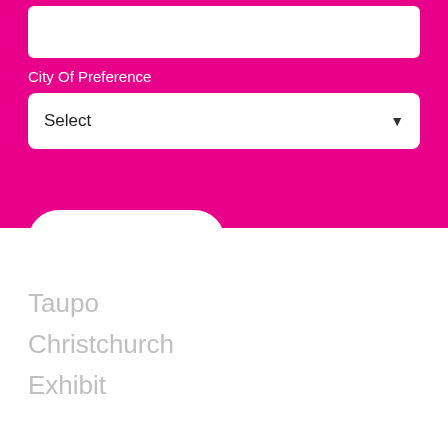City Of Preference
Select
Notify me
Taupo
Christchurch
Exhibit